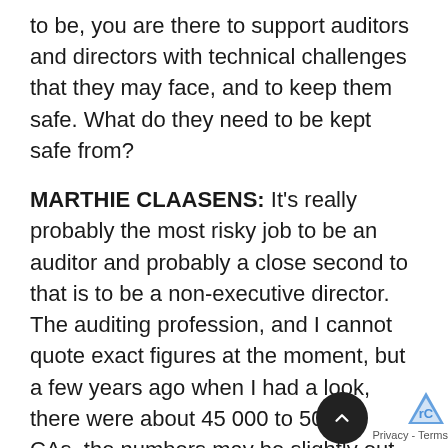to be, you are there to support auditors and directors with technical challenges that they may face, and to keep them safe. What do they need to be kept safe from?
MARTHIE CLAASENS: It's really probably the most risky job to be an auditor and probably a close second to that is to be a non-executive director. The auditing profession, and I cannot quote exact figures at the moment, but a few years ago when I had a look, there were about 45 000 to 50 000 CAs, the numbers may be slightly out, of which only 4500 are choosing to be auditors. Now, CA is the qualification you need to register as an auditor. In South Africa in